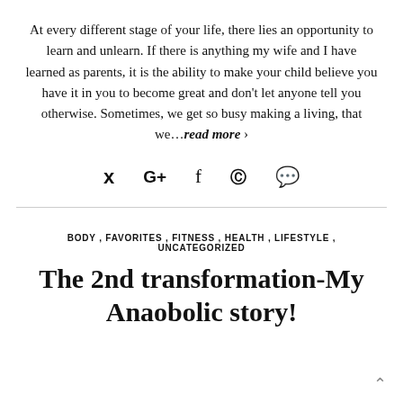At every different stage of your life, there lies an opportunity to learn and unlearn. If there is anything my wife and I have learned as parents, it is the ability to make your child believe you have it in you to become great and don't let anyone tell you otherwise. Sometimes, we get so busy making a living, that we…read more ›
[Figure (other): Social media share icons: Twitter (y), Google+ (G+), Facebook (f), Pinterest (circle P), Comment (speech bubble)]
BODY , FAVORITES , FITNESS , HEALTH , LIFESTYLE , UNCATEGORIZED
The 2nd transformation-My Anaobolic story!